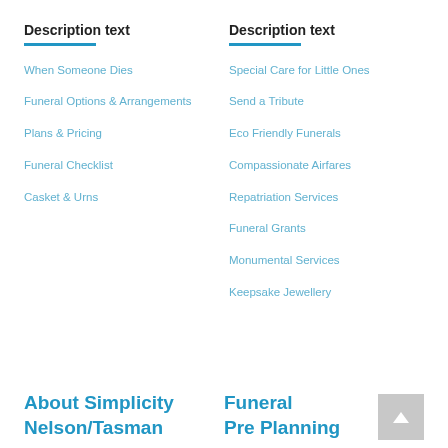Description text
Description text
When Someone Dies
Special Care for Little Ones
Funeral Options & Arrangements
Send a Tribute
Plans & Pricing
Eco Friendly Funerals
Funeral Checklist
Compassionate Airfares
Casket & Urns
Repatriation Services
Funeral Grants
Monumental Services
Keepsake Jewellery
About Simplicity Nelson/Tasman
Funeral Pre Planning